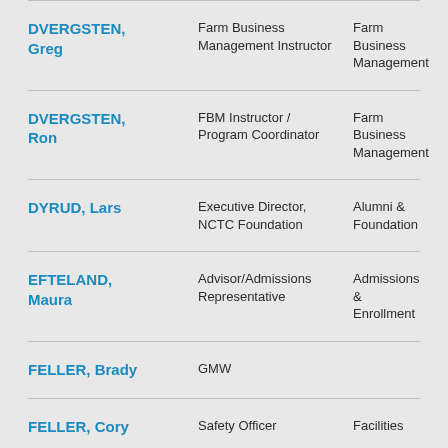| Name | Title | Department |
| --- | --- | --- |
| DVERGSTEN, Greg | Farm Business Management Instructor | Farm Business Management |
| DVERGSTEN, Ron | FBM Instructor / Program Coordinator | Farm Business Management |
| DYRUD, Lars | Executive Director, NCTC Foundation | Alumni & Foundation |
| EFTELAND, Maura | Advisor/Admissions Representative | Admissions & Enrollment |
| FELLER, Brady | GMW |  |
| FELLER, Cory | Safety Officer | Facilities |